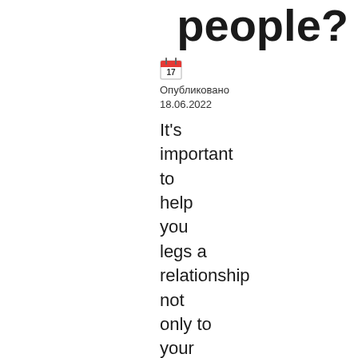people?
Опубликовано 18.06.2022
It's important to help you legs a relationship not only to your actual appearance and you will social experiences a person right